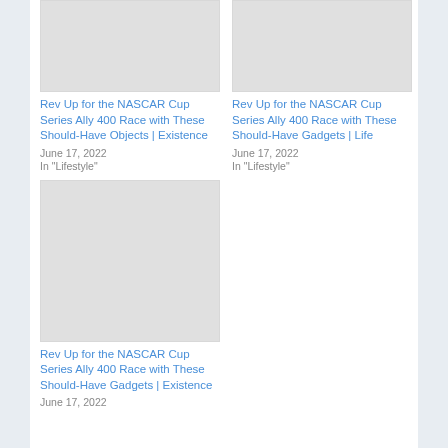[Figure (photo): Placeholder image (light gray rectangle) for article 1]
Rev Up for the NASCAR Cup Series Ally 400 Race with These Should-Have Objects | Existence
June 17, 2022
In "Lifestyle"
[Figure (photo): Placeholder image (light gray rectangle) for article 2]
Rev Up for the NASCAR Cup Series Ally 400 Race with These Should-Have Gadgets | Life
June 17, 2022
In "Lifestyle"
[Figure (photo): Placeholder image (light gray rectangle) for article 3]
Rev Up for the NASCAR Cup Series Ally 400 Race with These Should-Have Gadgets | Existence
June 17, 2022